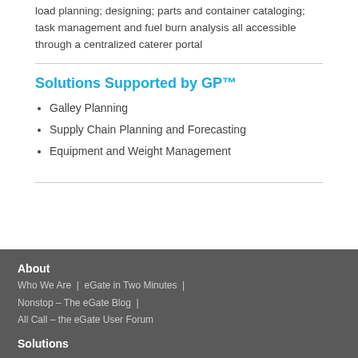load planning; designing; parts and container cataloging; task management and fuel burn analysis all accessible through a centralized caterer portal
Solutions Supported by GP™
Galley Planning
Supply Chain Planning and Forecasting
Equipment and Weight Management
About
Who We Are | eGate in Two Minutes |
Nonstop – The eGate Blog |
All Call – the eGate User Forum
Solutions